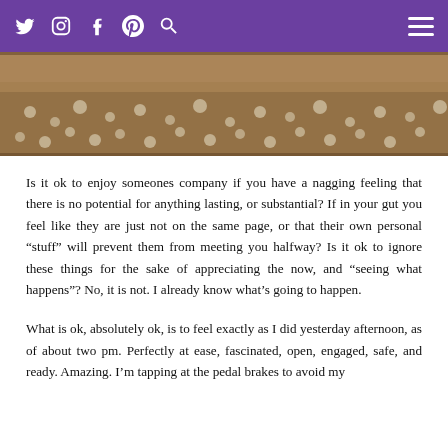Social media icons and hamburger menu on purple header bar
[Figure (photo): Sepia-toned photograph of a field of wildflowers/daisies]
Is it ok to enjoy someones company if you have a nagging feeling that there is no potential for anything lasting, or substantial? If in your gut you feel like they are just not on the same page, or that their own personal "stuff" will prevent them from meeting you halfway? Is it ok to ignore these things for the sake of appreciating the now, and "seeing what happens"? No, it is not. I already know what's going to happen.
What is ok, absolutely ok, is to feel exactly as I did yesterday afternoon, as of about two pm. Perfectly at ease, fascinated, open, engaged, safe, and ready. Amazing. I'm tapping at the pedal brakes to avoid my